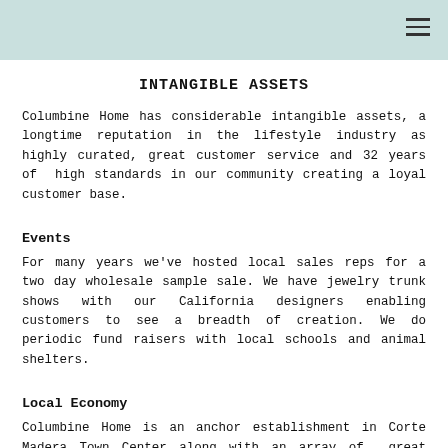INTANGIBLE ASSETS
Columbine Home has considerable intangible assets, a longtime reputation in the lifestyle industry as highly curated, great customer service and 32 years of high standards in our community creating a loyal customer base.
Events
For many years we've hosted local sales reps for a two day wholesale sample sale. We have jewelry trunk shows with our California designers enabling customers to see a breadth of creation. We do periodic fund raisers with local schools and animal shelters.
Local Economy
Columbine Home is an anchor establishment in Corte Madera Town Center along with an array of great restaurants and other retail